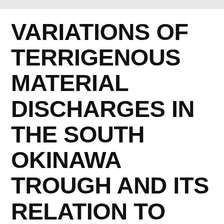VARIATIONS OF TERRIGENOUS MATERIAL DISCHARGES IN THE SOUTH OKINAWA TROUGH AND ITS RELATION TO THE EAST ASIAN SUMMER MONSOON SINCE THE LAST MILLENNIUM